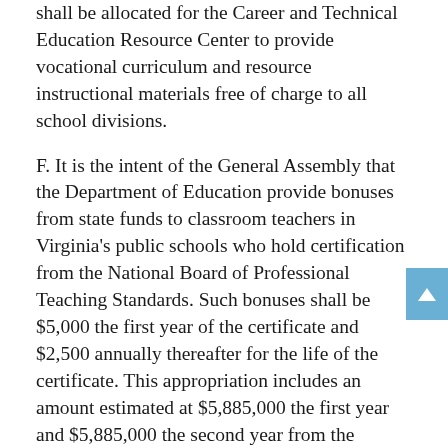shall be allocated for the Career and Technical Education Resource Center to provide vocational curriculum and resource instructional materials free of charge to all school divisions.
F. It is the intent of the General Assembly that the Department of Education provide bonuses from state funds to classroom teachers in Virginia's public schools who hold certification from the National Board of Professional Teaching Standards. Such bonuses shall be $5,000 the first year of the certificate and $2,500 annually thereafter for the life of the certificate. This appropriation includes an amount estimated at $5,885,000 the first year and $5,885,000 the second year from the general fund for the purpose of paying these bonuses. By October 15 of each year, school divisions shall notify the Department of Education of the number of classroom teachers under contract for that school year that hold such certification.